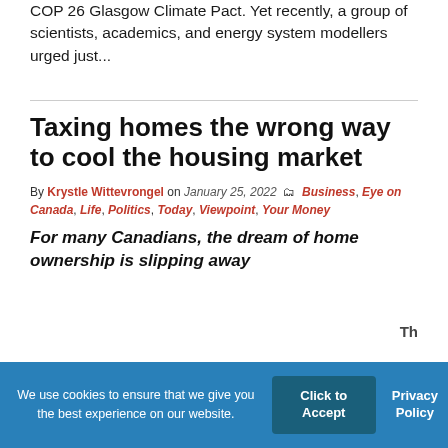COP 26 Glasgow Climate Pact. Yet recently, a group of scientists, academics, and energy system modellers urged just...
Taxing homes the wrong way to cool the housing market
By Krystle Wittevrongel on January 25, 2022 Business, Eye on Canada, Life, Politics, Today, Viewpoint, Your Money
For many Canadians, the dream of home ownership is slipping away
Th...
We use cookies to ensure that we give you the best experience on our website.
Click to Accept
Privacy Policy